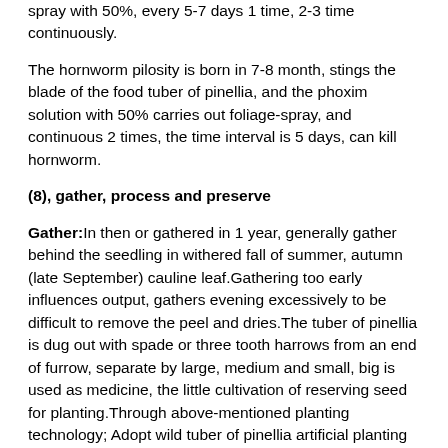spray with 50%, every 5-7 days 1 time, 2-3 time continuously.
The hornworm pilosity is born in 7-8 month, stings the blade of the food tuber of pinellia, and the phoxim solution with 50% carries out foliage-spray, and continuous 2 times, the time interval is 5 days, can kill hornworm.
(8), gather, process and preserve
Gather:In then or gathered in 1 year, generally gather behind the seedling in withered fall of summer, autumn (late September) cauline leaf.Gathering too early influences output, gathers evening excessively to be difficult to remove the peel and dries.The tuber of pinellia is dug out with spade or three tooth harrows from an end of furrow, separate by large, medium and small, big is used as medicine, the little cultivation of reserving seed for planting.Through above-mentioned planting technology; Adopt wild tuber of pinellia artificial planting technique to breed, the every strain of the tuber of pinellia of cultivating is compared with the growth wild tuber of pinellia in the ground, and the every strain of output increases to 8 times; The tuber of pinellia is big, skin is clean, white, matter is